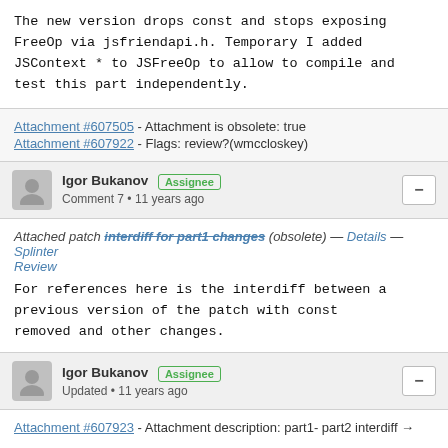The new version drops const and stops exposing FreeOp via jsfriendapi.h. Temporary I added JSContext * to JSFreeOp to allow to compile and test this part independently.
Attachment #607505 - Attachment is obsolete: true
Attachment #607922 - Flags: review?(wmccloskey)
Igor Bukanov  Assignee
Comment 7 • 11 years ago
Attached patch interdiff for part1 changes (obsolete) — Details — Splinter Review
For references here is the interdiff between a previous version of the patch with const removed and other changes.
Igor Bukanov  Assignee
Updated • 11 years ago
Attachment #607923 - Attachment description: part1- part2 interdiff →